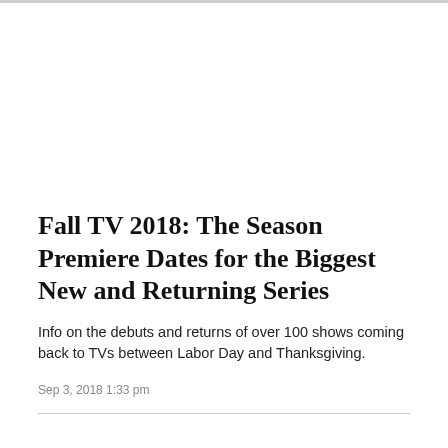Fall TV 2018: The Season Premiere Dates for the Biggest New and Returning Series
Info on the debuts and returns of over 100 shows coming back to TVs between Labor Day and Thanksgiving.
Sep 3, 2018 1:33 pm